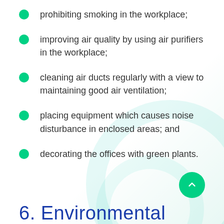prohibiting smoking in the workplace;
improving air quality by using air purifiers in the workplace;
cleaning air ducts regularly with a view to maintaining good air ventilation;
placing equipment which causes noise disturbance in enclosed areas; and
decorating the offices with green plants.
6. Environmental